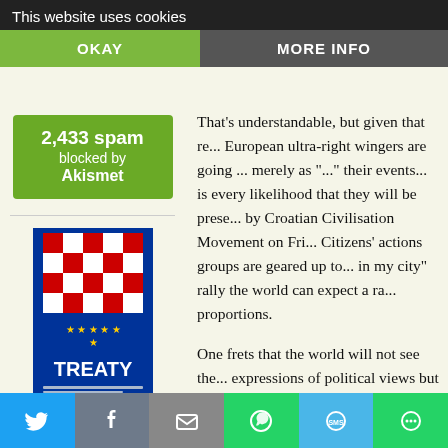This website uses cookies
That's understandable, but given that re... European ultra-right wingers are going ... merely as '...' their events... is every likelihood that they will be prese... by Croatian Civilisation Movement on Fri... Citizens' actions groups are geared up to... in my city" rally the world can expect a ra... proportions.
2,433 spam blocked by Akismet
[Figure (photo): Book cover titled TREATY with Croatian and EU flags]
pdf Public document
One frets that the world will not see the... expressions of political views but rather ... warped, that fascism is still alive and kick...
Croatian government it seems has not the... through, or perhaps they have? Perhaps... want the ugly nationalistic scenes to occu... rhetoric of antifascist righteousness?
Share buttons: Twitter, Facebook, Email, WhatsApp, SMS, More